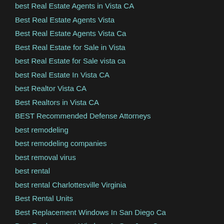best Real Estate Agents in Vista CA
Best Real Estate Agents Vista
Best Real Estate Agents Vista Ca
Best Real Estate for Sale in Vista
best Real Estate for Sale vista ca
best Real Estate In Vista CA
best Realtor Vista CA
Best Realtors in Vista CA
BEST Recommended Defense Attorneys
best remodeling
best remodeling companies
best removal virus
best rental
best rental Charlottesville Virginia
Best Rental Units
Best Replacement Windows In San Diego Ca
Best Replacement Windows In San Jose Ca